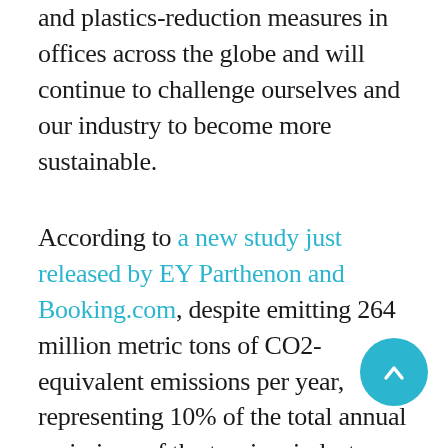and plastics-reduction measures in offices across the globe and will continue to challenge ourselves and our industry to become more sustainable.
According to a new study just released by EY Parthenon and Booking.com, despite emitting 264 million metric tons of CO2-equivalent emissions per year, representing 10% of the total annual emissions of the tourism industry, the accommodation sector has the opportunity to the way in making travel and tourism more sustainable. Given that this is also the core of our business, in terms of impact, this is